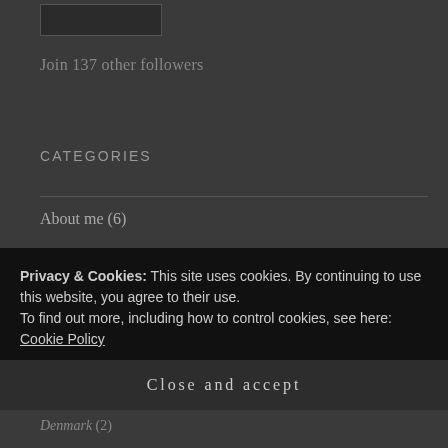[Figure (other): Input text box widget (dark background, light border)]
Join 137 other followers
CATEGORIES
About me (6)
Pregnancy Stuff (1)
Recommendations (3)
Travel (36)
Privacy & Cookies: This site uses cookies. By continuing to use this website, you agree to their use.
To find out more, including how to control cookies, see here: Cookie Policy
Close and accept
Denmark (2)